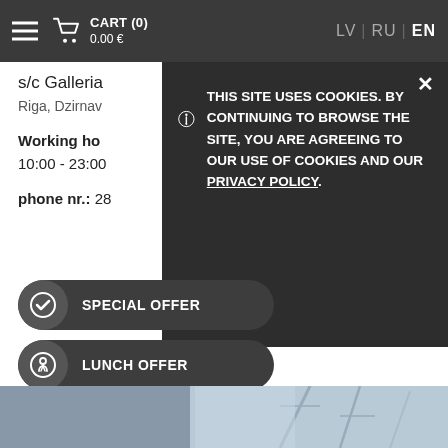CART (0) 0.00 € | LV | RU | EN
s/c Galleria
Riga, Dzirnav
[Figure (screenshot): Cookie consent modal overlay with exclamation icon. Text: THIS SITE USES COOKIES. BY CONTINUING TO BROWSE THE SITE, YOU ARE AGREEING TO OUR USE OF COOKIES AND OUR PRIVACY POLICY.]
Working ho
10:00 - 23:00
phone nr.: 28
SPECIAL OFFER
LUNCH OFFER
VIEW MENU
MORE INFO
[Figure (photo): Bottom image strip showing urban/city scene]